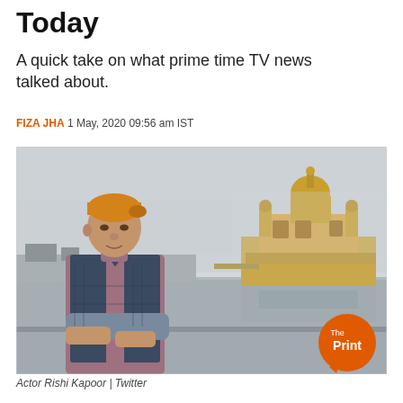Today
A quick take on what prime time TV news talked about.
FIZA JHA 1 May, 2020 09:56 am IST
[Figure (photo): Actor Rishi Kapoor standing in front of the Golden Temple at Amritsar, wearing an orange patka and a navy blue quilted vest over a mauve sweater. The Golden Temple is visible in the misty background across the sarovar. A circular orange logo reading 'The Print' appears at the bottom right of the image.]
Actor Rishi Kapoor | Twitter